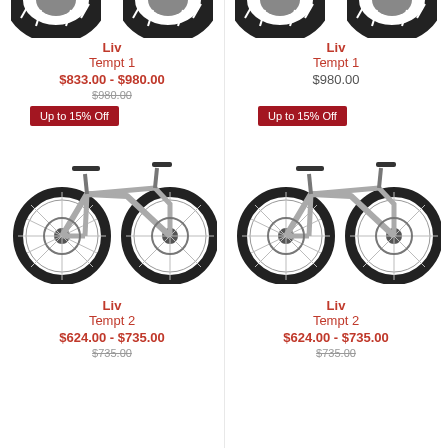[Figure (photo): Partial top view of two bicycle tires, left side]
[Figure (photo): Partial top view of two bicycle tires, right side]
Liv
Tempt 1
$833.00 - $980.00
$980.00
$980.00
Up to 15% Off
Up to 15% Off
[Figure (photo): Liv Tempt 1 mountain bike, silver/grey, left side]
[Figure (photo): Liv Tempt 1 mountain bike, silver/grey, right side]
Liv
Tempt 2
$624.00 - $735.00
$624.00 - $735.00
$735.00
$735.00